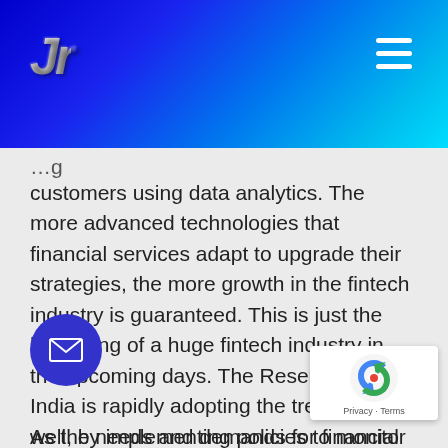JR logo and navigation header
customers using data analytics. The more advanced technologies that financial services adapt to upgrade their strategies, the more growth in the fintech industry is guaranteed. This is just the beginning of a huge fintech industry in the upcoming days. The Reserve Bank of India is rapidly adopting the trends as well, by implementing policies to monitor industry more closely. The analytical tools are helping regulators to compare scenarios to avoid potential risks and market-related issues.

As the needs and demands for financial